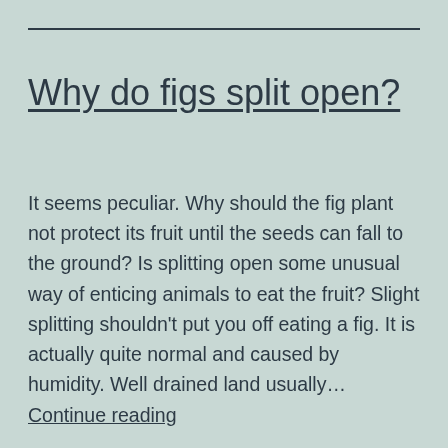Why do figs split open?
It seems peculiar.  Why should the fig plant not protect its fruit until the seeds can fall to the ground?  Is splitting open some unusual way of enticing animals to eat the fruit? Slight splitting shouldn't put you off eating a fig.  It is actually quite normal and caused by humidity.  Well drained land usually… Continue reading